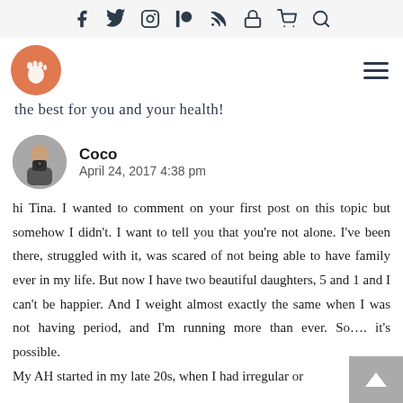Icons: Facebook, Twitter, Instagram, Patreon, RSS, Lock, Cart, Search
[Figure (logo): Site logo: circular salmon/orange badge with a foot icon]
the best for you and your health!
Coco
April 24, 2017 4:38 pm
hi Tina. I wanted to comment on your first post on this topic but somehow I didn't. I want to tell you that you're not alone. I've been there, struggled with it, was scared of not being able to have family ever in my life. But now I have two beautiful daughters, 5 and 1 and I can't be happier. And I weight almost exactly the same when I was not having period, and I'm running more than ever. So…. it's possible.
My AH started in my late 20s, when I had irregular or